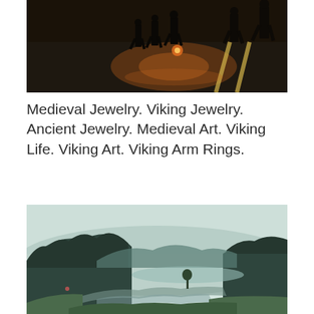[Figure (photo): Street-level photo of people walking on a wet road at sunset/dusk, with long shadows cast on the pavement. The image shows silhouettes of pedestrians crossing a street with yellow road markings, shot in warm golden light.]
Medieval Jewelry. Viking Jewelry. Ancient Jewelry. Medieval Art. Viking Life. Viking Art. Viking Arm Rings.
[Figure (photo): Landscape photo of a misty river valley with dark green forested hills and mountains in the background, a winding stream or tidal flat in the foreground with grassy banks, and a pale grey-green overcast sky. Moody, cool-toned nature scene.]